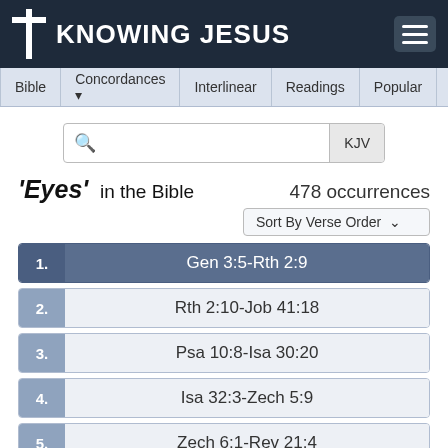KNOWING JESUS
Bible | Concordances | Interlinear | Readings | Popular | More
'Eyes' in the Bible   478 occurrences
1. Gen 3:5-Rth 2:9
2. Rth 2:10-Job 41:18
3. Psa 10:8-Isa 30:20
4. Isa 32:3-Zech 5:9
5. Zech 6:1-Rev 21:4
Genesis 3:5   → Verse Concepts